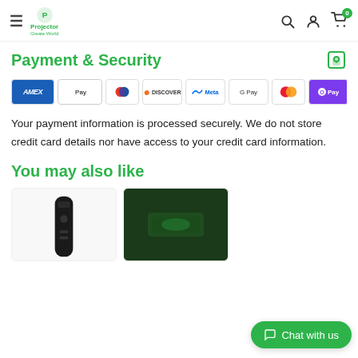Projector Create World — navigation bar with hamburger menu, logo, search, account, and cart icons
Payment & Security
[Figure (other): Row of payment method logos: AMEX, Apple Pay, Diners, Discover, Meta, Google Pay, Mastercard, OPay, VISA]
Your payment information is processed securely. We do not store credit card details nor have access to your credit card information.
You may also like
[Figure (photo): Product thumbnail of a black presenter/clicker remote device]
[Figure (photo): Product thumbnail with dark green background showing a projector accessory]